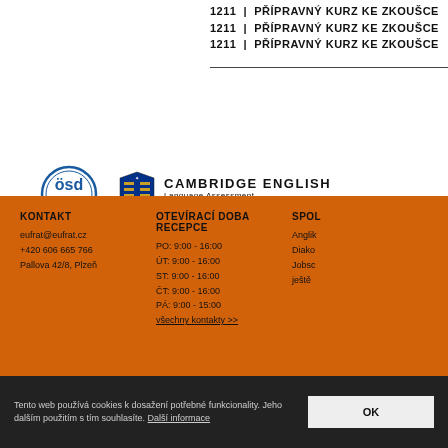1211 | PŘÍPRAVNÝ KURZ KE ZKOUŠCE
1211 | PŘÍPRAVNÝ KURZ KE ZKOUŠCE
1211 | PŘÍPRAVNÝ KURZ KE ZKOUŠCE
[Figure (logo): ÖSD Prüfungszentren circular logo]
[Figure (logo): Cambridge English Language Assessment Authorised Centre logo]
KONTAKT
eufrat@eufrat.cz
+420 606 665 766
Pallova 42/8, Plzeň
OTEVÍRACÍ DOBA RECEPCE
PO: 9:00 - 16:00
ÚT: 9:00 - 16:00
ST: 9:00 - 16:00
ČT: 9:00 - 16:00
PÁ: 9:00 - 15:00
všechny kontakty >>
SPOL...
Anglik...
Diako...
Jobsc...
ještě ...
Tento web používá cookies k dosažení potřebné funkcionality. Jeho dalším použitím s tím souhlasíte. Další informace